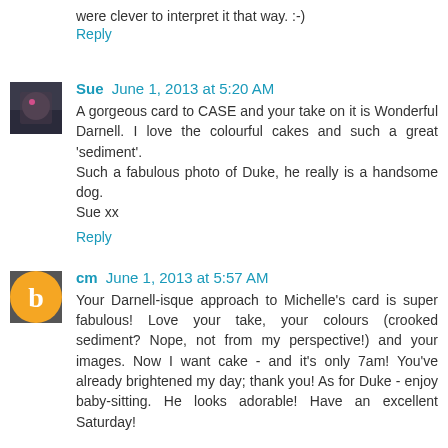were clever to interpret it that way. :-)
Reply
Sue  June 1, 2013 at 5:20 AM
A gorgeous card to CASE and your take on it is Wonderful Darnell. I love the colourful cakes and such a great 'sediment'.
Such a fabulous photo of Duke, he really is a handsome dog.
Sue xx
Reply
cm  June 1, 2013 at 5:57 AM
Your Darnell-isque approach to Michelle's card is super fabulous! Love your take, your colours (crooked sediment? Nope, not from my perspective!) and your images. Now I want cake - and it's only 7am! You've already brightened my day; thank you! As for Duke - enjoy baby-sitting. He looks adorable! Have an excellent Saturday!